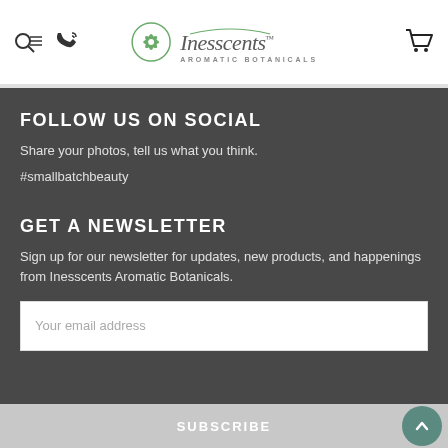Inesscents Aromatic Botanicals - navigation header with search, phone, logo, and cart icons
FOLLOW US ON SOCIAL
Share your photos, tell us what you think.
#smallbatchbeauty
GET A NEWSLETTER
Sign up for our newsletter for updates, new products, and happenings from Inesscents Aromatic Botanicals.
Your email address
SUBSCRIBE